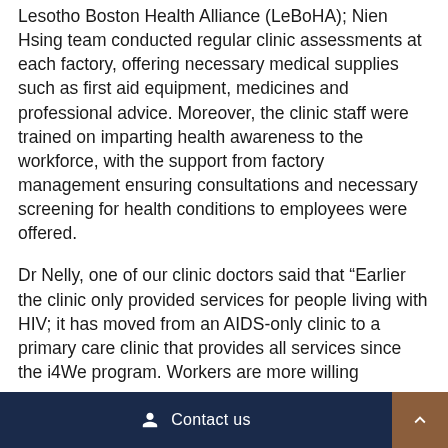Lesotho Boston Health Alliance (LeBoHA); Nien Hsing team conducted regular clinic assessments at each factory, offering necessary medical supplies such as first aid equipment, medicines and professional advice. Moreover, the clinic staff were trained on imparting health awareness to the workforce, with the support from factory management ensuring consultations and necessary screening for health conditions to employees were offered.
Dr Nelly, one of our clinic doctors said that “Earlier the clinic only provided services for people living with HIV; it has moved from an AIDS-only clinic to a primary care clinic that provides all services since the i4We program. Workers are more willing
Contact us